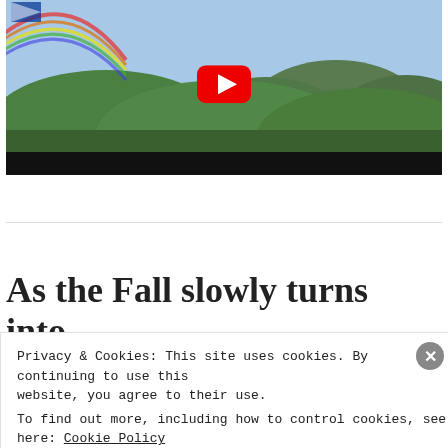[Figure (screenshot): YouTube video thumbnail showing green rolling hills/countryside with mountains in background, rainbow in top-left corner, YouTube play button overlay in center, black bar at bottom.]
As the Fall slowly turns into Winter
Privacy & Cookies: This site uses cookies. By continuing to use this website, you agree to their use.
To find out more, including how to control cookies, see here: Cookie Policy
Close and accept